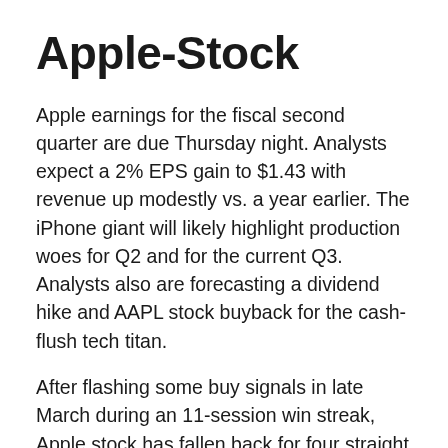Apple-Stock
Apple earnings for the fiscal second quarter are due Thursday night. Analysts expect a 2% EPS gain to $1.43 with revenue up modestly vs. a year earlier. The iPhone giant will likely highlight production woes for Q2 and for the current Q3. Analysts also are forecasting a dividend hike and AAPL stock buyback for the cash-flush tech titan.
After flashing some buy signals in late March during an 11-session win streak, Apple stock has fallen back for four straight weeks to below its 50-day line. It was down 2.1% to 161.79 last week, and shares are moving back toward their 200-day moving average.